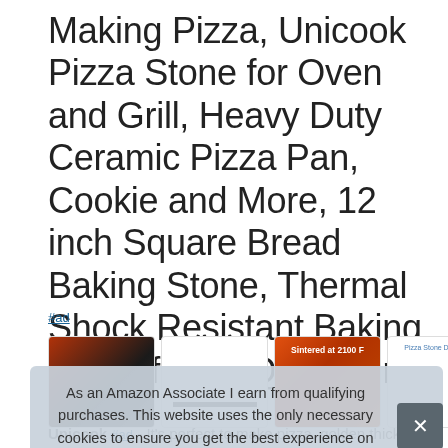Making Pizza, Unicook Pizza Stone for Oven and Grill, Heavy Duty Ceramic Pizza Pan, Cookie and More, 12 inch Square Bread Baking Stone, Thermal Shock Resistant Baking Stone for BBQ and Grill, Bread
#ad
[Figure (screenshot): Four product thumbnail images showing pizza stone product photos: a pizza stone in oven, a product image, a stone sintered at 2100 F with fire background, and a pizza stone dimension diagram.]
As an Amazon Associate I earn from qualifying purchases. This website uses the only necessary cookies to ensure you get the best experience on our website. More information
Unicook #ad - It's perfect to make pizza, golden thickness